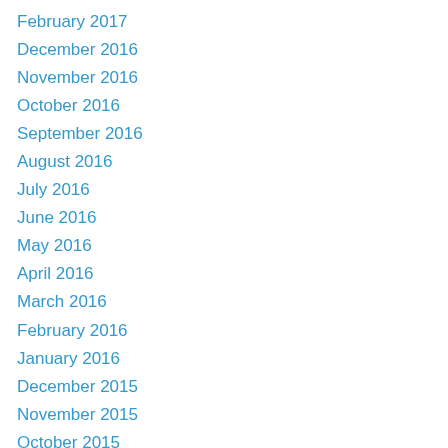February 2017
December 2016
November 2016
October 2016
September 2016
August 2016
July 2016
June 2016
May 2016
April 2016
March 2016
February 2016
January 2016
December 2015
November 2015
October 2015
September 2015
August 2015
July 2015
June 2015